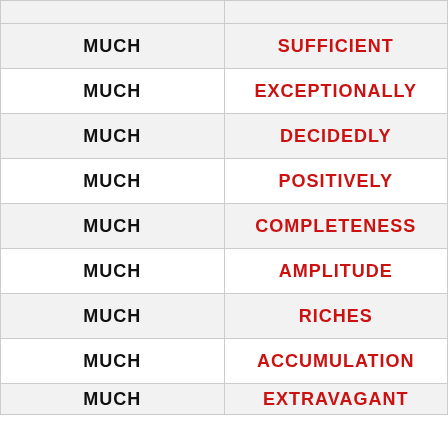|  |  |
| --- | --- |
| MUCH | SUFFICIENT |
| MUCH | EXCEPTIONALLY |
| MUCH | DECIDEDLY |
| MUCH | POSITIVELY |
| MUCH | COMPLETENESS |
| MUCH | AMPLITUDE |
| MUCH | RICHES |
| MUCH | ACCUMULATION |
| MUCH | EXTRAVAGANT |